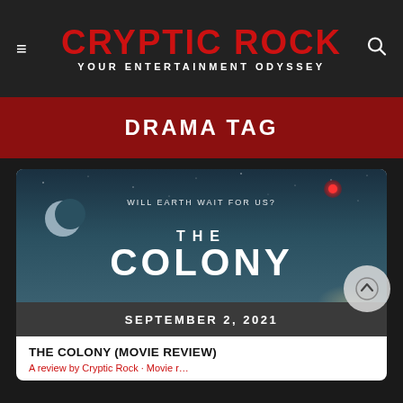CRYPTIC ROCK — YOUR ENTERTAINMENT ODYSSEY
DRAMA TAG
[Figure (photo): Movie poster for 'The Colony' showing text 'WILL EARTH WAIT FOR US?' with a crescent moon and red glowing light against a blue-grey starscape, with large white text reading 'THE COLONY']
SEPTEMBER 2, 2021
THE COLONY (MOVIE REVIEW)